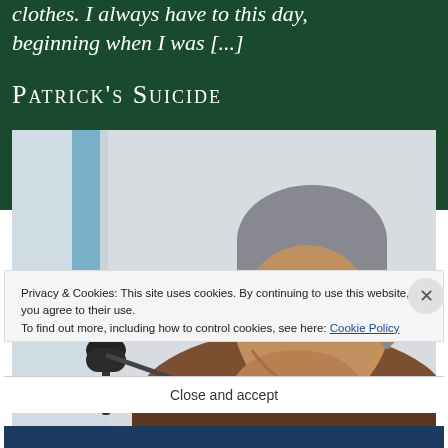clothes. I always have to this day, beginning when I was [...]
PATRICK'S SUICIDE
[Figure (photo): A person speaking into a microphone, viewed from the side, with short grey hair and an earring, smiling, against a light background.]
Privacy & Cookies: This site uses cookies. By continuing to use this website, you agree to their use. To find out more, including how to control cookies, see here: Cookie Policy
Close and accept